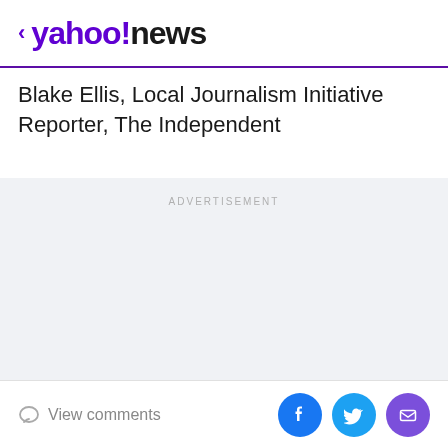< yahoo!news
Blake Ellis, Local Journalism Initiative Reporter, The Independent
[Figure (other): Advertisement placeholder block with light gray background and 'ADVERTISEMENT' label]
View comments | Facebook share | Twitter share | Email share